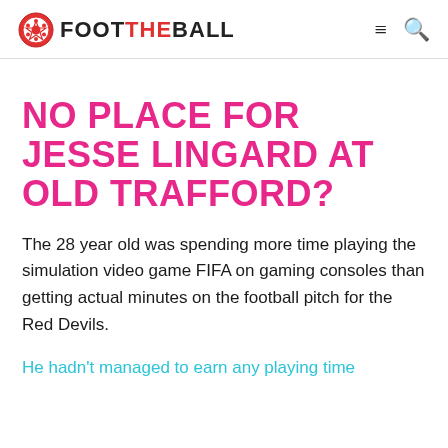FOOTBALL (FootTheBall logo)
NO PLACE FOR JESSE LINGARD AT OLD TRAFFORD?
The 28 year old was spending more time playing the simulation video game FIFA on gaming consoles than getting actual minutes on the football pitch for the Red Devils.
He hadn't managed to earn any playing time